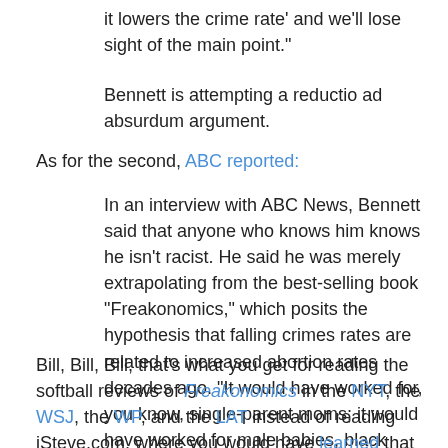it lowers the crime rate' and we'll lose sight of the main point."
Bennett is attempting a reductio ad absurdum argument.
As for the second, ABC reported:
In an interview with ABC News, Bennett said that anyone who knows him knows he isn't racist. He said he was merely extrapolating from the best-selling book "Freakonomics," which posits the hypothesis that falling crimes rates are related to increased abortion rates decades ago. "It would have worked for, you know, single-parent moms; it would have worked for male babies, black babies," Bennett said.
Bill, Bill, Bill, that's what you get for reading the softball reviews of Freakonomics in the NYT, the WSJ, the WP, and the LAT instead of reading iSteve.com, where you would have learned that economist Steven D. Levitt's ultrapopular but slapdash abortion-cut-crime theory disastrously failed to predict even the past.